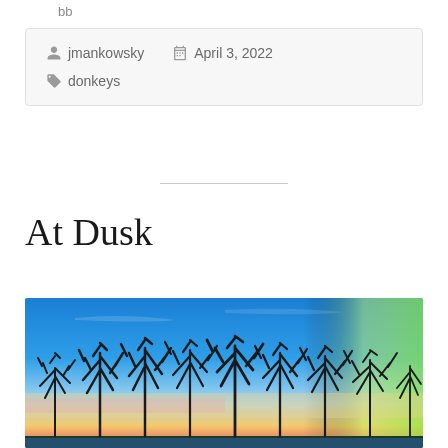jmankowsky   April 3, 2022   donkeys
At Dusk
[Figure (photo): Dusk landscape photo showing silhouettes of bare winter trees against a vivid blue sky with colorful sunset hues of yellow, green, and pink near the horizon. A dark treeline and water are visible at the bottom.]